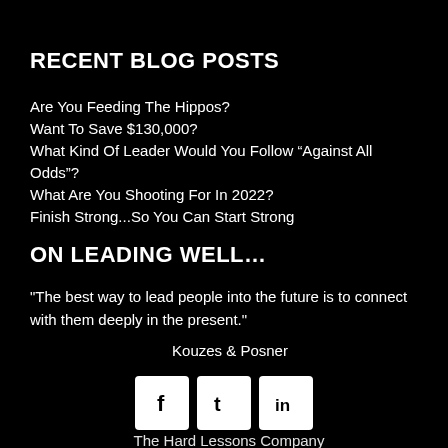RECENT BLOG POSTS
Are You Feeding The Hippos?
Want To Save $130,000?
What Kind Of Leader Would You Follow “Against All Odds”?
What Are You Shooting For In 2022?
Finish Strong...So You Can Start Strong
ON LEADING WELL…
"The best way to lead people into the future is to connect with them deeply in the present."
Kouzes & Posner
[Figure (infographic): Three social media icons: Facebook (f), Twitter (t), LinkedIn (in), displayed as white rounded-square buttons on black background]
The Hard Lessons Company